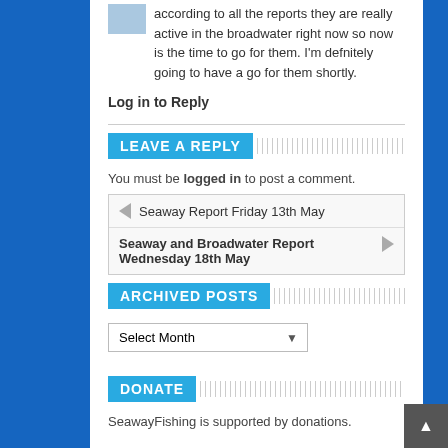according to all the reports they are really active in the broadwater right now so now is the time to go for them. I'm defnitely going to have a go for them shortly.
Log in to Reply
LEAVE A REPLY
You must be logged in to post a comment.
| ◄ Seaway Report Friday 13th May |
| Seaway and Broadwater Report Wednesday 18th May ► |
ARCHIVED POSTS
Select Month
DONATE
SeawayFishing is supported by donations.